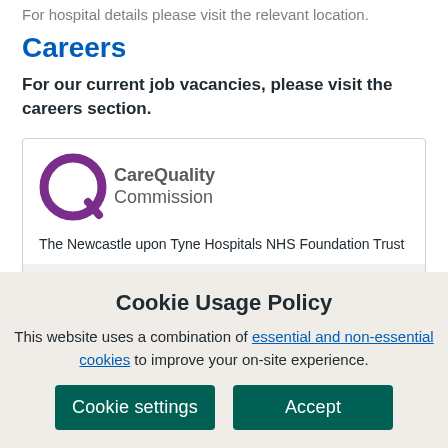For hospital details please visit the relevant location.
Careers
For our current job vacancies, please visit the careers section.
[Figure (logo): Care Quality Commission logo with purple Q circle icon and gray text]
The Newcastle upon Tyne Hospitals NHS Foundation Trust
CQC overall rating
Cookie Usage Policy
This website uses a combination of essential and non-essential cookies to improve your on-site experience.